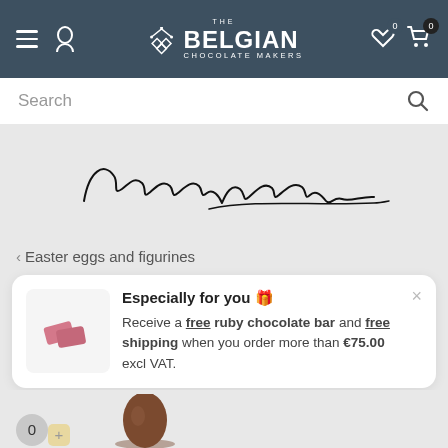The Belgian Chocolate Makers
Search
[Figure (illustration): Cursive signature reading 'Elisabetta Passafaro']
< Easter eggs and figurines
Especially for you 🎁
Receive a free ruby chocolate bar and free shipping when you order more than €75.00 excl VAT.
Eas...ell (milk)